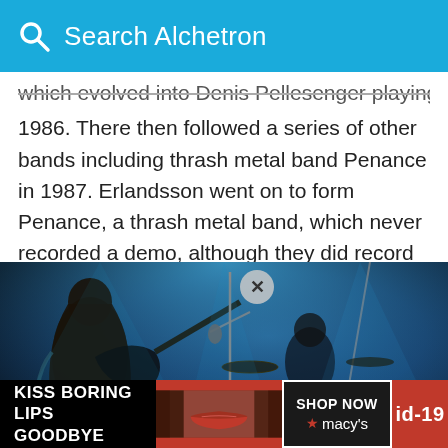Search Alchetron
which evolved into Denis Pellesenger playing with 1986. There then followed a series of other bands including thrash metal band Penance in 1987. Erlandsson went on to form Penance, a thrash metal band, which never recorded a demo, although they did record some rehearsal tracks.
[Figure (photo): Concert photo showing a long-haired guitarist and a drummer on stage with blue stage lighting]
[Figure (infographic): Advertisement bar: KISS BORING LIPS GOODBYE with SHOP NOW macy's button and id-19 label]